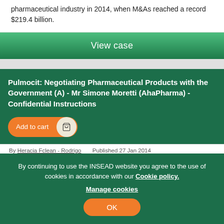pharmaceutical industry in 2014, when M&As reached a record $219.4 billion.
View case
Pulmocit: Negotiating Pharmaceutical Products with the Government (A) - Mr Simone Moretti (AhaPharma) - Confidential Instructions
Add to cart
By Heracia Fclean Rodrigo    Published 27 Jan 2014
By continuing to use the INSEAD website you agree to the use of cookies in accordance with our Cookie policy.
Manage cookies
OK